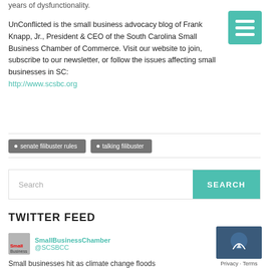years of dysfunctionality.
UnConflicted is the small business advocacy blog of Frank Knapp, Jr., President & CEO of the South Carolina Small Business Chamber of Commerce. Visit our website to join, subscribe to our newsletter, or follow the issues affecting small businesses in SC: http://www.scsbc.org
• senate filibuster rules
• talking filibuster
[Figure (other): Search bar with text input and teal SEARCH button]
TWITTER FEED
SmallBusinessChamber @SCSBCC
Small businesses hit as climate change floods